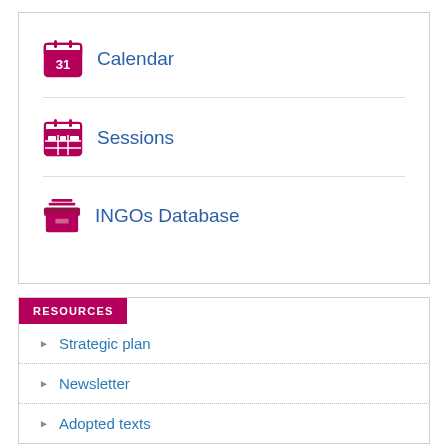Calendar
Sessions
INGOs Database
RESOURCES
Strategic plan
Newsletter
Adopted texts